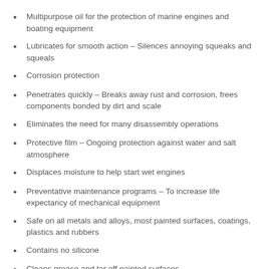Multipurpose oil for the protection of marine engines and boating equipment
Lubricates for smooth action – Silences annoying squeaks and squeals
Corrosion protection
Penetrates quickly – Breaks away rust and corrosion, frees components bonded by dirt and scale
Eliminates the need for many disassembly operations
Protective film – Ongoing protection against water and salt atmosphere
Displaces moisture to help start wet engines
Preventative maintenance programs – To increase life expectancy of mechanical equipment
Safe on all metals and alloys, most painted surfaces, coatings, plastics and rubbers
Contains no silicone
Cleans grease and tar off painted surfaces
MBL Approved G14